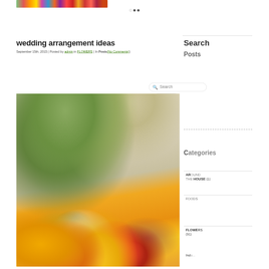[Figure (photo): Top banner image showing colorful fruits and vegetables]
wedding arrangement ideas
September 15th, 2015 | Posted by admin in FLOWERS | In Posts (No Comments)
[Figure (screenshot): Search widget with search input field and Search button]
Categories
AROUND THE HOUSE (1)
FOODS
FLOWERS (91)
Indo...
[Figure (photo): Floral arrangement with orange, yellow, white and red flowers including chrysanthemums, ranunculus and succulents in a rustic vase setting]